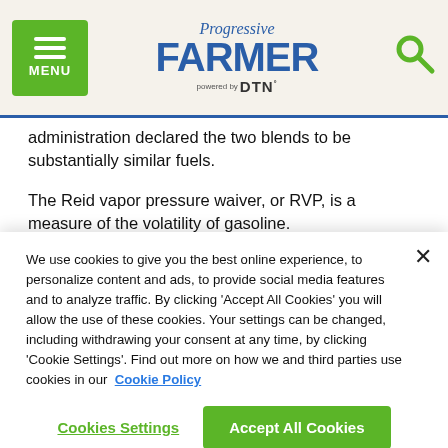MENU | Progressive FARMER powered by DTN | [search icon]
administration declared the two blends to be substantially similar fuels.
The Reid vapor pressure waiver, or RVP, is a measure of the volatility of gasoline.
We use cookies to give you the best online experience, to personalize content and ads, to provide social media features and to analyze traffic. By clicking 'Accept All Cookies' you will allow the use of these cookies. Your settings can be changed, including withdrawing your consent at any time, by clicking 'Cookie Settings'. Find out more on how we and third parties use cookies in our Cookie Policy